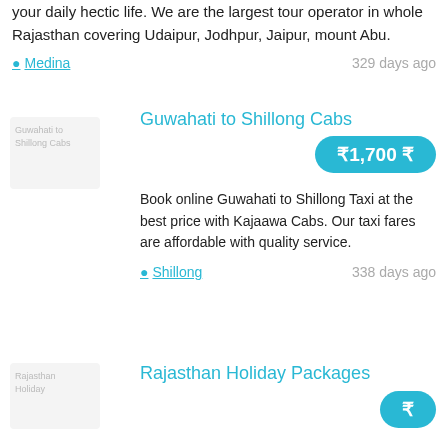your daily hectic life. We are the largest tour operator in whole Rajasthan covering Udaipur, Jodhpur, Jaipur, mount Abu.
📍 Medina    329 days ago
[Figure (photo): Thumbnail image placeholder for Guwahati to Shillong Cabs listing]
Guwahati to Shillong Cabs
₹1,700 ₹
Book online Guwahati to Shillong Taxi at the best price with Kajaawa Cabs. Our taxi fares are affordable with quality service.
📍 Shillong    338 days ago
[Figure (photo): Thumbnail image placeholder for Rajasthan Holiday Packages listing]
Rajasthan Holiday Packages